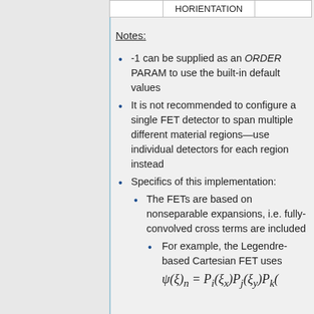|  | H_ORIENTATION |  |
| --- | --- | --- |
|  |
Notes:
-1 can be supplied as an ORDER PARAM to use the built-in default values
It is not recommended to configure a single FET detector to span multiple different material regions—use individual detectors for each region instead
Specifics of this implementation:
The FETs are based on nonseparable expansions, i.e. fully-convolved cross terms are included
For example, the Legendre-based Cartesian FET uses